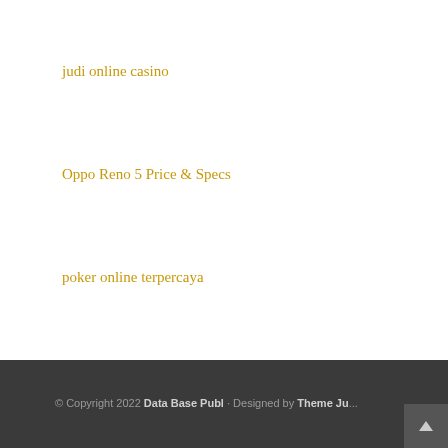judi online casino
Oppo Reno 5 Price & Specs
poker online terpercaya
daftar joker123
© Copyright 2022 Data Base Publ · Designed by Theme Ju...